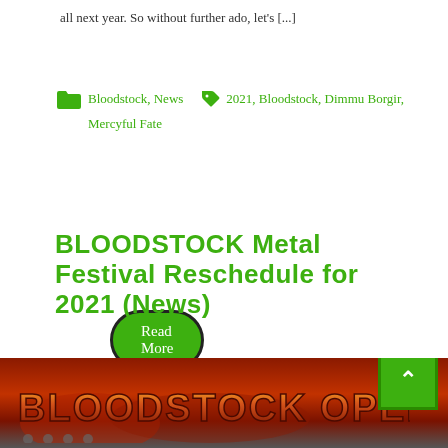all next year. So without further ado, let's [...]
Bloodstock, News  2021, Bloodstock, Dimmu Borgir, Mercyful Fate
Read More
BLOODSTOCK Metal Festival Reschedule for 2021 (News)
May 7, 2020   Written by Tom Cornell
Leave a Comment
[Figure (photo): Bloodstock Open Air festival banner/logo image with fire/metal styling]